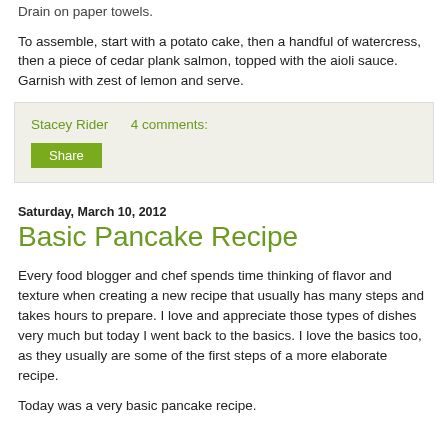Drain on paper towels.
To assemble, start with a potato cake, then a handful of watercress, then a piece of cedar plank salmon, topped with the aioli sauce.   Garnish with zest of lemon and serve.
Stacey Rider    4 comments:
Share
Saturday, March 10, 2012
Basic Pancake Recipe
Every food blogger and chef spends time thinking of flavor and texture when creating a new recipe that usually has many steps and takes hours to prepare.   I love and appreciate those types of dishes very much but today I went back to the basics.   I love the basics too, as they usually are some of the first steps of a more elaborate recipe.
Today was a very basic pancake recipe.